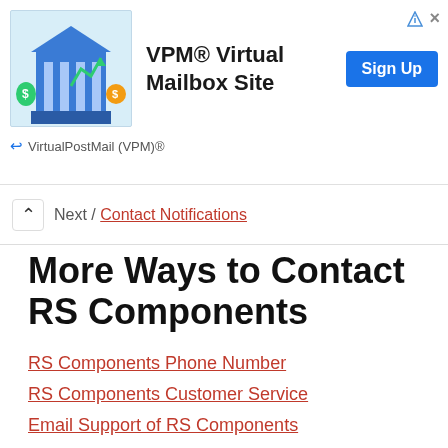[Figure (other): Advertisement banner for VirtualPostMail (VPM)® showing a bank building illustration with a 'VPM® Virtual Mailbox Site' heading and a blue 'Sign Up' button]
Contact Notifications (partial nav link)
More Ways to Contact RS Components
RS Components Phone Number
RS Components Customer Service
Email Support of RS Components
Live Chat Support of RS Components
Social Media support of RS Components
RS Components Help Pages